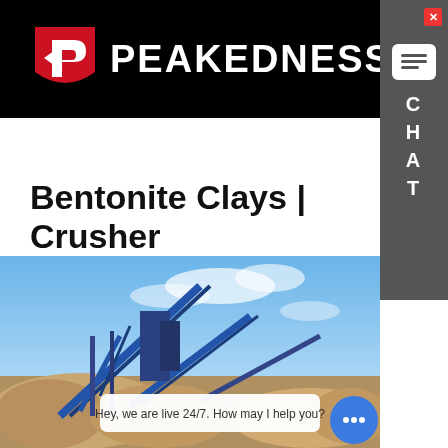[Figure (logo): Peakedness company logo — red shield with white arrow/P icon on black background with white PEAKEDNESS text]
[Figure (other): Gray chat sidebar with close button (red X), white speech bubble icon, and vertical CHAT text]
Bentonite Clays | Crusher
bentonite manufacturers in india - Crusher South Africa suppliers of Bentonite Clay Powder india, indian Bentonite…
Learn More
[Figure (photo): Industrial crusher/mining facility with conveyor belts, blue sky with clouds, and piles of crushed stone/aggregate material. Live chat box overlay: 'Hey, we are live 24/7. How may I help you?' with blue chat button.]